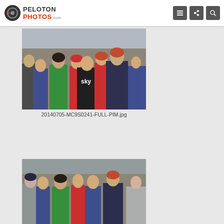PELOTON PHOTOS .com — navigation header with menu, share, and search icons
[Figure (photo): Group photo at a cycling event. A woman in a bright green dress stands smiling among cyclists in team kits including a Sky team jersey. A man in a dark suit with red hair stands to the right.]
20140705-MC9S0241-FULL-PIM.jpg
[Figure (photo): Second photo showing a group of people including royals and cyclists at a cycling event start, partially cropped at the bottom of the page.]